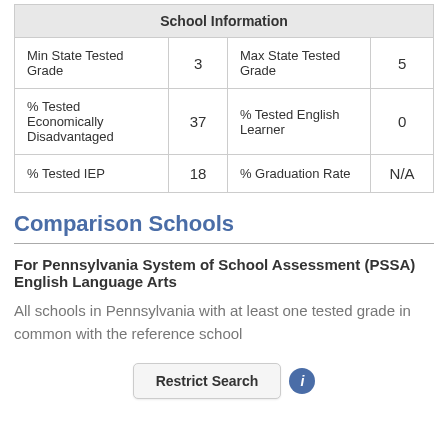| School Information |  |  |  |
| --- | --- | --- | --- |
| Min State Tested Grade | 3 | Max State Tested Grade | 5 |
| % Tested Economically Disadvantaged | 37 | % Tested English Learner | 0 |
| % Tested IEP | 18 | % Graduation Rate | N/A |
Comparison Schools
For Pennsylvania System of School Assessment (PSSA) English Language Arts
All schools in Pennsylvania with at least one tested grade in common with the reference school
Restrict Search